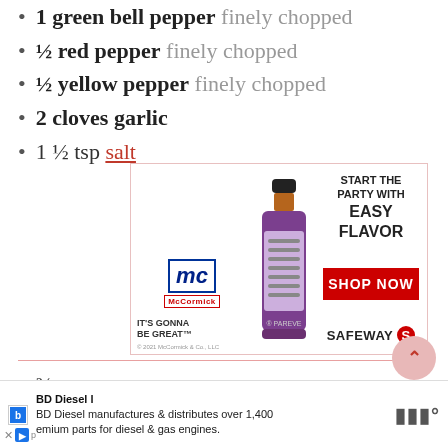1 green bell pepper finely chopped
½ red pepper finely chopped
½ yellow pepper finely chopped
2 cloves garlic
1 ½ tsp salt
[Figure (infographic): McCormick advertisement: bottle of seasoned salt product with text 'START THE PARTY WITH EASY FLAVOR', 'SHOP NOW' button, and Safeway logo. Left side shows McCormick logo, bottle image, IT'S GONNA BE GREAT tagline.]
¾ tsp pepper
1 tsp thyme
1 tsp basil
1 tsp paprika
1 chicken cube
[Figure (infographic): BD Diesel advertisement: BD Diesel manufactures & distributes over 1,400 premium parts for diesel & gas engines.]